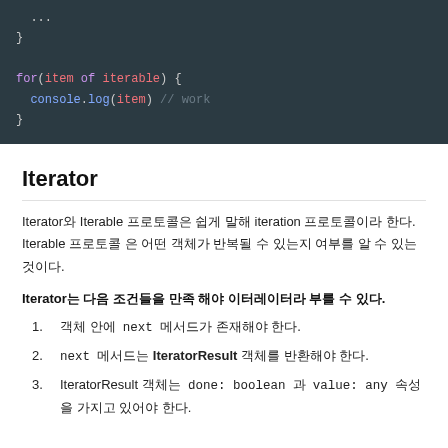[Figure (screenshot): Dark-themed code block showing JavaScript for...of loop with iterable, console.log(item) and closing braces.]
Iterator
Iterator와 Iterable 프로토콜은 쉽게 말해 iteration 프로토콜이라 한다. Iterable 프로토콜 은 어떤 객체가 반복될 수 있는지 여부를 알 수 있는 것이다.
Iterator는 다음 조건들을 만족 해야 이터레이터라 부를 수 있다.
객체 안에  next  메서드가 존재해야 한다.
next  메서드는 IteratorResult 객체를 반환해야 한다.
IteratorResult 객체는  done: boolean 과  value: any  속성을 가지고 있어야 한다.